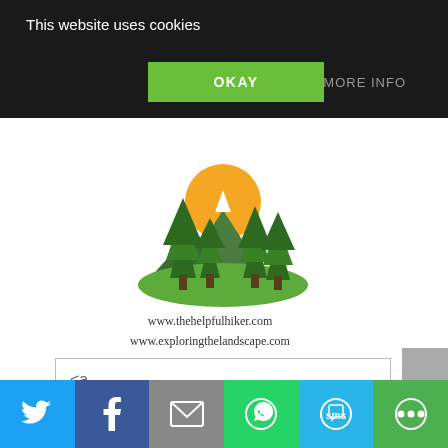This website uses cookies
OKAY
MORE INFO
[Figure (logo): The Helpful Hiker / Exploring the Landscape logo: forest scene with pine trees, mountains, and sun on green hill]
www.thehelpfulhiker.com
www.exploringthelandscape.com
<a
href="https://thehelpfulhiker.c
om/" target="_blank"
[Figure (screenshot): Social sharing bar with Twitter, Facebook, Email, WhatsApp, SMS, and other share buttons]